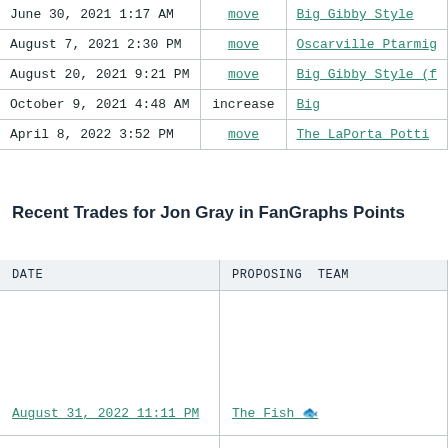| DATE | ACTION | TEAM |
| --- | --- | --- |
| June 30, 2021 1:17 AM | move | Big Gibby Style |
| August 7, 2021 2:30 PM | move | Oscarville Ptarmig… |
| August 20, 2021 9:21 PM | move | Big Gibby Style (f… |
| October 9, 2021 4:48 AM | increase | Big… |
| April 8, 2022 3:52 PM | move | The LaPorta Potti… |
Recent Trades for Jon Gray in FanGraphs Points
| DATE | PROPOSING TEAM |
| --- | --- |
| August 31, 2022 11:11 PM | The Fish 🐟 |
|  |  |